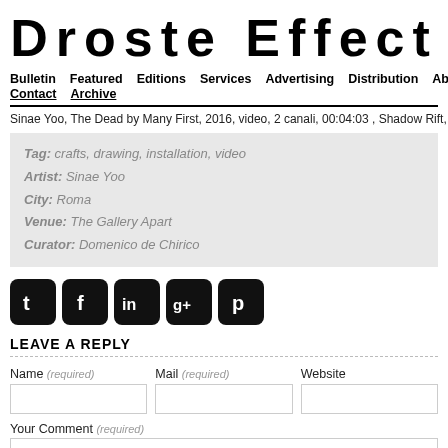Droste Effect
Bulletin  Featured  Editions  Services  Advertising  Distribution  About  Contact  Archive
Sinae Yoo, The Dead by Many First, 2016, video, 2 canali, 00:04:03 , Shadow Rift, The G
Tag: crafts, drawing, installation, video
Artist: Sinae Yoo
City: Roma
Venue: The Gallery Apart
Curator: Domenico de Chirico
[Figure (infographic): Five social media icons in black rounded square buttons: Twitter (t), Facebook (f), LinkedIn (in), Google+ (g+), Pinterest (p)]
LEAVE A REPLY
Name (required)  Mail (required)  Website
Your Comment (required)